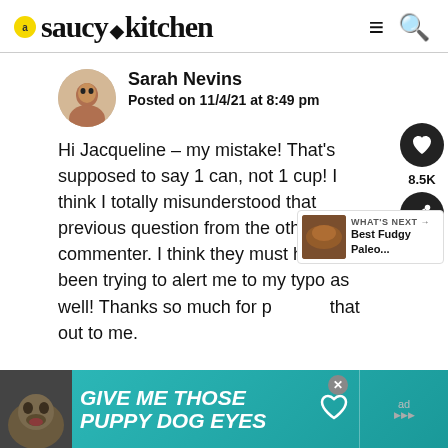saucy kitchen
Sarah Nevins
Posted on 11/4/21 at 8:49 pm
Hi Jacqueline – my mistake! That's supposed to say 1 can, not 1 cup! I think I totally misunderstood that previous question from the other commenter. I think they must have been trying to alert me to my typo as well! Thanks so much for pointing that out to me.
[Figure (screenshot): Like button with 8.5K count and share button on right side]
[Figure (screenshot): WHAT'S NEXT arrow, Best Fudgy Paleo... thumbnail]
[Figure (infographic): Advertisement banner: GIVE ME THOSE PUPPY DOG EYES with dog image]